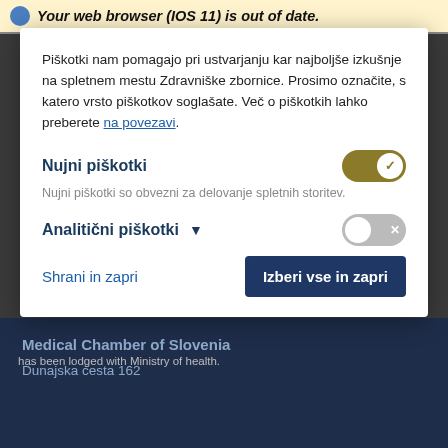Your web browser (IOS 11) is out of date.
Piškotki nam pomagajo pri ustvarjanju kar najboljše izkušnje na spletnem mestu Zdravniške zbornice. Prosimo označite, s katero vrsto piškotkov soglašate. Več o piškotkih lahko preberete na povezavi.
Nujni piškotki
Nujni piškotki so obvezni za delovanje spletnih storitev.
Analitični piškotki
Shrani in zapri
Izberi vse in zapri
has been lodged with Ministry of health.
Medical Chamber of Slovenia
Dunajska cesta 162